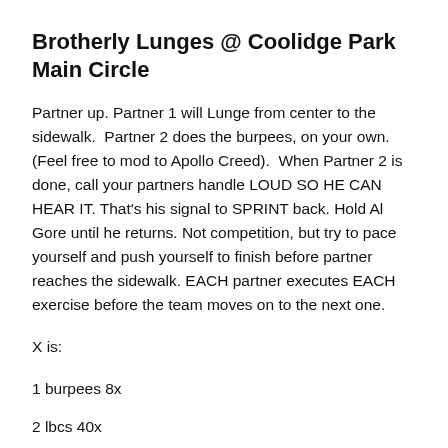Brotherly Lunges @ Coolidge Park Main Circle
Partner up. Partner 1 will Lunge from center to the sidewalk.  Partner 2 does the burpees, on your own. (Feel free to mod to Apollo Creed).  When Partner 2 is done, call your partners handle LOUD SO HE CAN HEAR IT. That's his signal to SPRINT back. Hold Al Gore until he returns. Not competition, but try to pace yourself and push yourself to finish before partner reaches the sidewalk. EACH partner executes EACH exercise before the team moves on to the next one.
X is:
1 burpees 8x
2 lbcs 40x